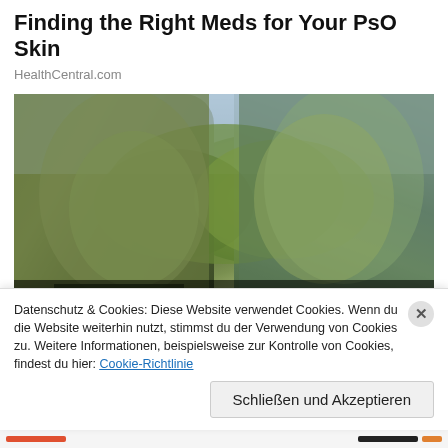Finding the Right Meds for Your PsO Skin
HealthCentral.com
[Figure (photo): Two green-skinned Hulk characters (She-Hulk and Hulk) facing each other in an outdoor jungle/forest setting. Text overlay reads: 'She Hulk' Team, Stars Tatiana Maslany And Ginger Gonzaga Tee Up MCU's Laugh-Ou...]
Datenschutz & Cookies: Diese Website verwendet Cookies. Wenn du die Website weiterhin nutzt, stimmst du der Verwendung von Cookies zu. Weitere Informationen, beispielsweise zur Kontrolle von Cookies, findest du hier: Cookie-Richtlinie
Schließen und Akzeptieren